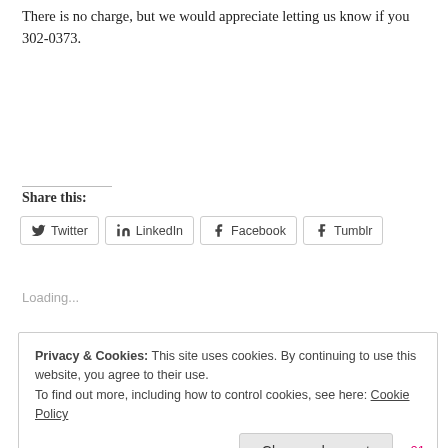There is no charge, but we would appreciate letting us know if you 302-0373.
Share this:
Twitter  LinkedIn  Facebook  Tumblr
Loading...
Privacy & Cookies: This site uses cookies. By continuing to use this website, you agree to their use. To find out more, including how to control cookies, see here: Cookie Policy
Close and accept